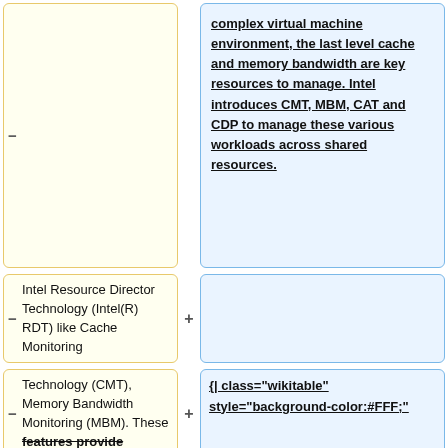complex virtual machine environment, the last level cache and memory bandwidth are key resources to manage. Intel introduces CMT, MBM, CAT and CDP to manage these various workloads across shared resources.
− Intel Resource Director Technology (Intel(R) RDT) like Cache Monitoring
+ (empty)
− Technology (CMT), Memory Bandwidth Monitoring (MBM). These features provide
+ {| class="wikitable" style="background-color:#FFF;"
− information about utilization of shared resources.
+ |=